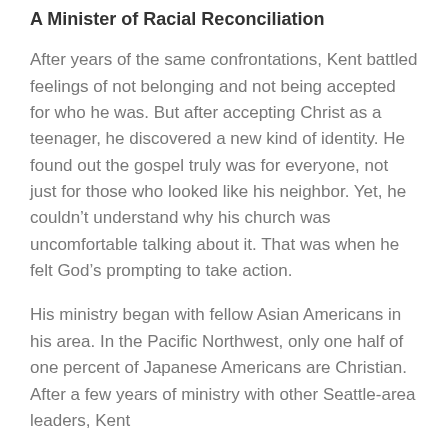A Minister of Racial Reconciliation
After years of the same confrontations, Kent battled feelings of not belonging and not being accepted for who he was. But after accepting Christ as a teenager, he discovered a new kind of identity. He found out the gospel truly was for everyone, not just for those who looked like his neighbor. Yet, he couldn’t understand why his church was uncomfortable talking about it. That was when he felt God’s prompting to take action.
His ministry began with fellow Asian Americans in his area. In the Pacific Northwest, only one half of one percent of Japanese Americans are Christian. After a few years of ministry with other Seattle-area leaders, Kent